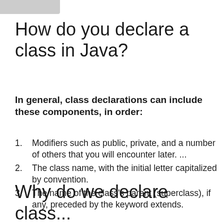How do you declare a class in Java?
In general, class declarations can include these components, in order:
Modifiers such as public, private, and a number of others that you will encounter later. ...
The class name, with the initial letter capitalized by convention.
The name of the class’s parent (superclass), if any, preceded by the keyword extends.
Why do we declare class...